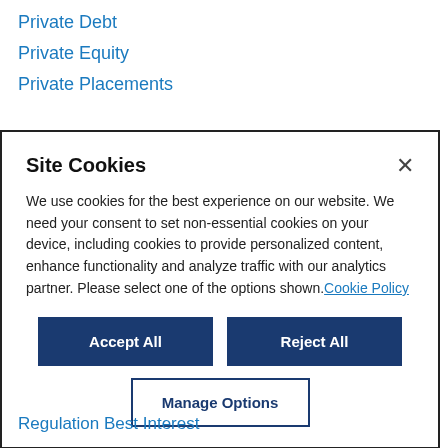Private Debt
Private Equity
Private Placements
Site Cookies
We use cookies for the best experience on our website. We need your consent to set non-essential cookies on your device, including cookies to provide personalized content, enhance functionality and analyze traffic with our analytics partner. Please select one of the options shown.Cookie Policy
Regulation Best Interest